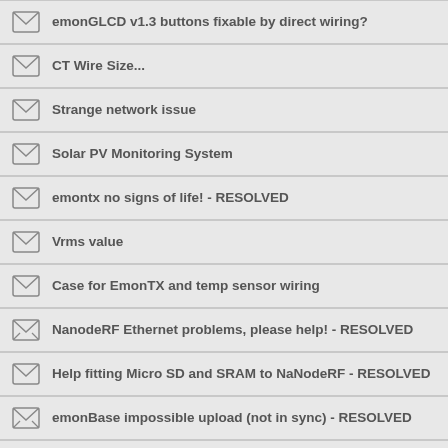emonGLCD v1.3 buttons fixable by direct wiring?
CT Wire Size...
Strange network issue
Solar PV Monitoring System
emontx no signs of life! - RESOLVED
Vrms value
Case for EmonTX and temp sensor wiring
NanodeRF Ethernet problems, please help! - RESOLVED
Help fitting Micro SD and SRAM to NaNodeRF - RESOLVED
emonBase impossible upload (not in sync) - RESOLVED
Debugging tools for Arduino 1.0 ?